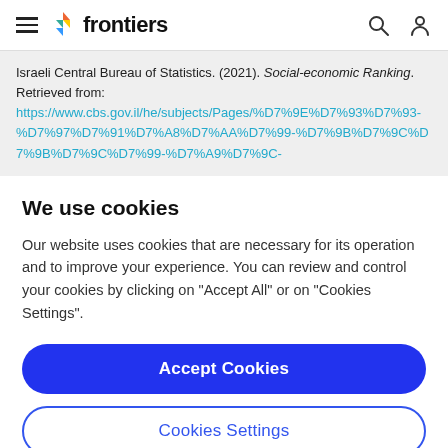frontiers
Israeli Central Bureau of Statistics. (2021). Social-economic Ranking. Retrieved from: https://www.cbs.gov.il/he/subjects/Pages/%D7%9E%D7%93%D7%93-%D7%97%D7%91%D7%A8%D7%AA%D7%99-%D7%9B%D7%9C%D7%9B%D7%9C%D7%99-%D7%A9%D7%9C-
We use cookies
Our website uses cookies that are necessary for its operation and to improve your experience. You can review and control your cookies by clicking on "Accept All" or on "Cookies Settings".
Accept Cookies
Cookies Settings